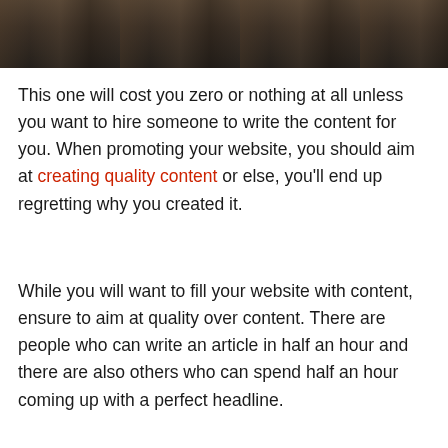[Figure (photo): Top portion of a photo showing a dark desk or table surface with books or materials, partial view of a person, dark background tones]
This one will cost you zero or nothing at all unless you want to hire someone to write the content for you. When promoting your website, you should aim at creating quality content or else, you'll end up regretting why you created it.
While you will want to fill your website with content, ensure to aim at quality over content. There are people who can write an article in half an hour and there are also others who can spend half an hour coming up with a perfect headline.